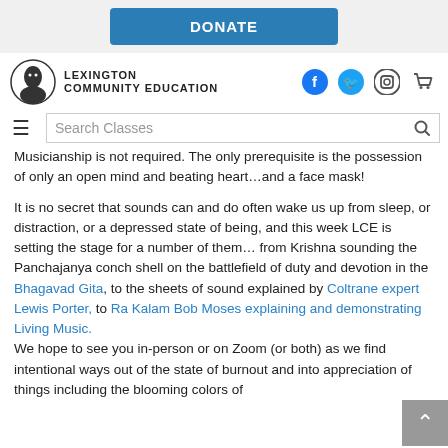[Figure (screenshot): DONATE button bar at top of page]
LEXINGTON COMMUNITY EDUCATION
[Figure (logo): Lexington Community Education logo with face silhouette]
[Figure (infographic): Social media icons: Facebook, Twitter, Instagram, Cart]
Musicianship is not required. The only prerequisite is the possession of only an open mind and beating heart…and a face mask!
It is no secret that sounds can and do often wake us up from sleep, or distraction, or a depressed state of being, and this week LCE is setting the stage for a number of them… from Krishna sounding the Panchajanya conch shell on the battlefield of duty and devotion in the Bhagavad Gita, to the sheets of sound explained by Coltrane expert Lewis Porter, to Ra Kalam Bob Moses explaining and demonstrating Living Music. We hope to see you in-person or on Zoom (or both) as we find intentional ways out of the state of burnout and into appreciation of things including the blooming colors of